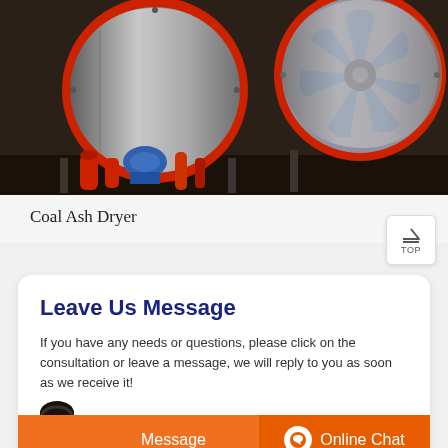[Figure (photo): Industrial coal ash dryer machinery — large cylindrical metal drums with red rims and blue motor components on a factory floor]
Coal Ash Dryer
Leave Us Message
If you have any needs or questions, please click on the consultation or leave a message, we will reply to you as soon as we receive it!
Message
Online Chat